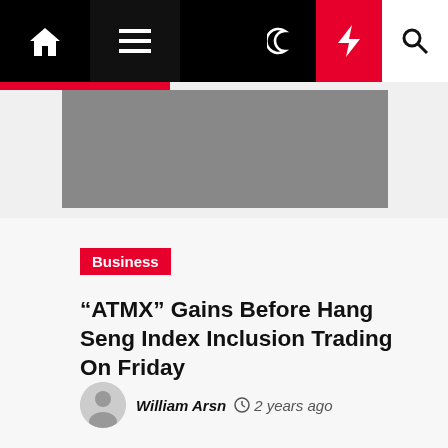Navigation bar with home, menu, dark mode, lightning, and search icons
[Figure (photo): Gray placeholder image at top of article]
Business
“ATMX” Gains Before Hang Seng Index Inclusion Trading On Friday
William Arsn  ○ 2 years ago
[Figure (photo): Gray placeholder image at bottom of page]